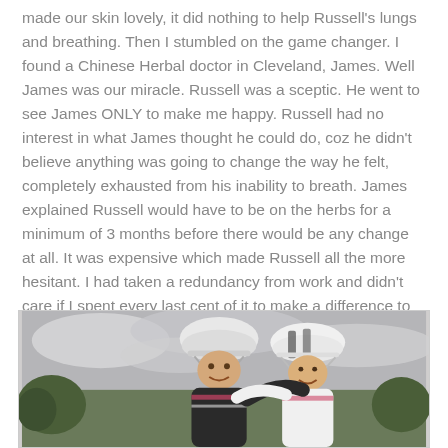made our skin lovely, it did nothing to help Russell's lungs and breathing. Then I stumbled on the game changer. I found a Chinese Herbal doctor in Cleveland, James. Well James was our miracle. Russell was a sceptic. He went to see James ONLY to make me happy. Russell had no interest in what James thought he could do, coz he didn't believe anything was going to change the way he felt, completely exhausted from his inability to breath. James explained Russell would have to be on the herbs for a minimum of 3 months before there would be any change at all. It was expensive which made Russell all the more hesitant. I had taken a redundancy from work and didn't care if I spent every last cent of it to make a difference to Russell's health. So the process commenced in October 2011.
[Figure (photo): Two people wearing cycling helmets and cycling jerseys embracing outdoors, smiling, with trees and cloudy sky in the background.]